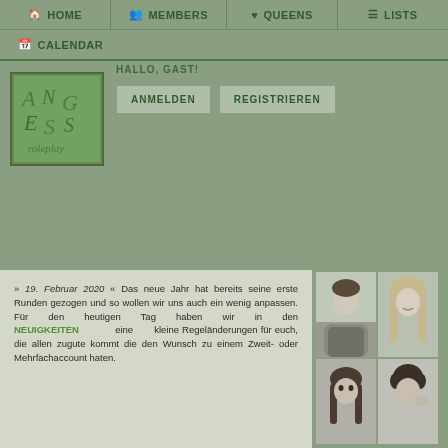HOME | MEMBERS | QUEENS | LISTS | CALENDAR
HALLO, GAST!
ANMELDEN
REGISTRIEREN
» 19. Februar 2020 « Das neue Jahr hat bereits seine erste Runden gezogen und so wollen wir uns auch ein wenig anpassen. Für den heutigen Tag haben wir in den NEUIGKEITEN eine kleine Regeländerungen für euch, die allen zugute kommt die den Wunsch zu einem Zweit- oder Mehrfachaccount haben.
[Figure (photo): Grid of four black and white portrait photos of people]
[Figure (logo): Green logo with stylized letters on green background]